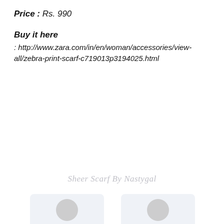Price : Rs. 990
Buy it here
: http://www.zara.com/in/en/woman/accessories/view-all/zebra-print-scarf-c719013p3194025.html
[Figure (photo): Watermark text reading 'Sheer Scarf By Nastygal' overlaid on two faded photos of a woman wearing a blue sheer scarf, shown from two different angles side by side.]